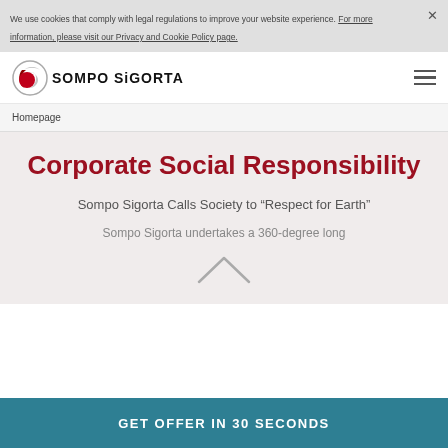We use cookies that comply with legal regulations to improve your website experience. For more information, please visit our Privacy and Cookie Policy page.
SOMPO SiGORTA
Homepage
Corporate Social Responsibility
Sompo Sigorta Calls Society to “Respect for Earth”
Sompo Sigorta undertakes a 360-degree long
GET OFFER IN 30 SECONDS